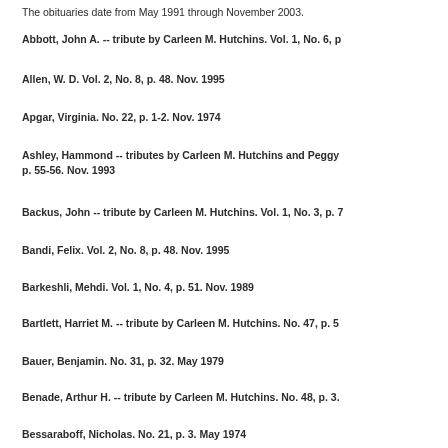The obituaries date from May 1991 through November 2003.
Abbott, John A. -- tribute by Carleen M. Hutchins. Vol. 1, No. 6, p...
Allen, W. D. Vol. 2, No. 8, p. 48. Nov. 1995
Apgar, Virginia. No. 22, p. 1-2. Nov. 1974
Ashley, Hammond -- tributes by Carleen M. Hutchins and Peggy... p. 55-56. Nov. 1993
Backus, John -- tribute by Carleen M. Hutchins. Vol. 1, No. 3, p....
Bandi, Felix. Vol. 2, No. 8, p. 48. Nov. 1995
Barkeshli, Mehdi. Vol. 1, No. 4, p. 51. Nov. 1989
Bartlett, Harriet M. -- tribute by Carleen M. Hutchins. No. 47, p. 5...
Bauer, Benjamin. No. 31, p. 32. May 1979
Benade, Arthur H. -- tribute by Carleen M. Hutchins. No. 48, p. 3...
Bessaraboff, Nicholas. No. 21, p. 3. May 1974